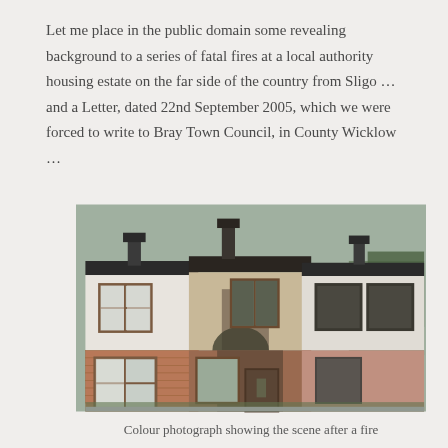Let me place in the public domain some revealing background to a series of fatal fires at a local authority housing estate on the far side of the country from Sligo … and a Letter, dated 22nd September 2005, which we were forced to write to Bray Town Council, in County Wicklow …
[Figure (photo): Colour photograph showing the exterior of a terraced housing estate after a fire. The middle house shows significant fire and smoke damage with scorched walls, damaged windows with no glazing boarded up, and soot marks above windows. The houses are two-storey with brick lower sections and rendered upper sections.]
Colour photograph showing the scene after a fire